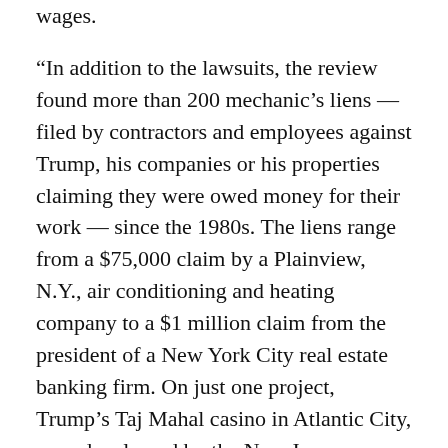wages.
“In addition to the lawsuits, the review found more than 200 mechanic’s liens — filed by contractors and employees against Trump, his companies or his properties claiming they were owed money for their work — since the 1980s. The liens range from a $75,000 claim by a Plainview, N.Y., air conditioning and heating company to a $1 million claim from the president of a New York City real estate banking firm. On just one project, Trump’s Taj Mahal casino in Atlantic City, records released by the New Jersey Casino Control Commission in 1990 show that at least 253 subcontractors weren’t paid in full or on time, including workers who installed walls, chandeliers and